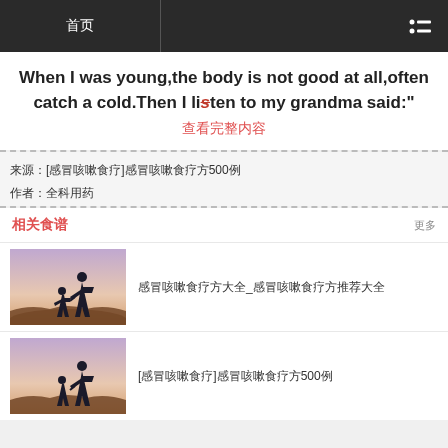首页
When I was young,the body is not good at all,often catch a cold.Then I listen to my grandma said:"
查看完整内容
来源：[感冒咳嗽食疗]感冒咳嗽食疗方500例
作者：全科用药
相关食谱
更多
[Figure (photo): Silhouette of adult and child holding hands at sunset in a field]
感冒咳嗽食疗方大全_感冒咳嗽食疗方推荐大全
[Figure (photo): Silhouette of adult and child holding hands at sunset in a field]
[感冒咳嗽食疗]感冒咳嗽食疗方500例